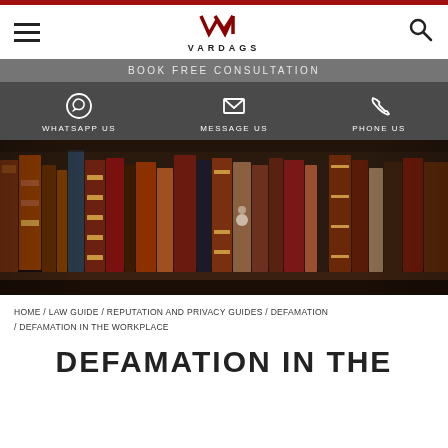[Figure (logo): Vardags law firm logo with stylized WM monogram and VARDAGS wordmark]
BOOK FREE CONSULTATION
WHATSAPP US   MESSAGE US   PHONE US
[Figure (photo): Row of old leather-bound books on a wooden bookshelf]
HOME / LAW GUIDE / REPUTATION AND PRIVACY GUIDES / DEFAMATION / DEFAMATION IN THE WORKPLACE
DEFAMATION IN THE